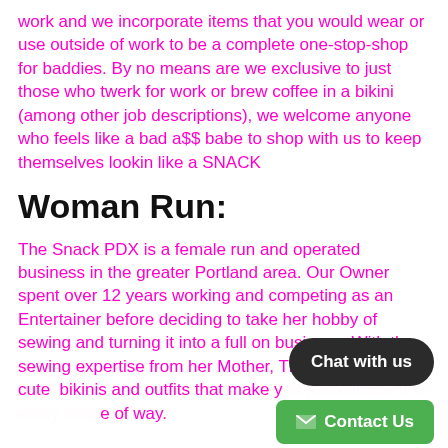work and we incorporate items that you would wear or use outside of work to be a complete one-stop-shop for baddies. By no means are we exclusive to just those who twerk for work or brew coffee in a bikini (among other job descriptions), we welcome anyone who feels like a bad a$$ babe to shop with us to keep themselves lookin like a SNACK
Woman Run:
The Snack PDX is a female run and operated business in the greater Portland area. Our Owner spent over 12 years working and competing as an Entertainer before deciding to take her hobby of sewing and turning it into a full on business. With the sewing expertise from her Mother, The Snack creates cute  bikinis and outfits that make y[...] e of way.